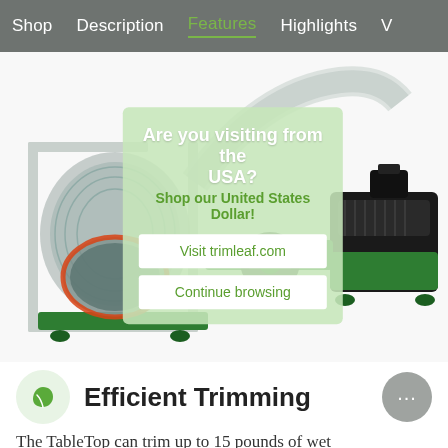Shop  Description  Features  Highlights  V
[Figure (photo): A tabletop trimming machine with a cylindrical rotating drum and motor on the right side, made of metal and green painted components. A semi-transparent popup overlay is visible on top of the machine image asking 'Are you visiting from the USA?' with options to 'Visit trimleaf.com' and 'Continue browsing'.]
Efficient Trimming
The TableTop can trim up to 15 pounds of wet